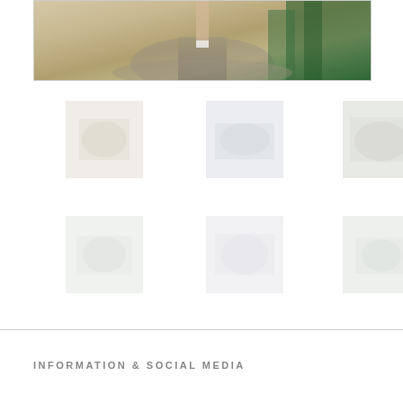[Figure (photo): Trail running photo showing person's legs and feet on a rocky mountain path with green trees in background]
[Figure (photo): Small thumbnail photo 1 - top row left - faded outdoor/nature scene]
[Figure (photo): Small thumbnail photo 2 - top row center - faded outdoor/nature scene]
[Figure (photo): Small thumbnail photo 3 - top row right - faded outdoor/nature scene]
[Figure (photo): Small thumbnail photo 4 - bottom row left - faded outdoor/nature scene]
[Figure (photo): Small thumbnail photo 5 - bottom row center - faded outdoor/nature scene]
[Figure (photo): Small thumbnail photo 6 - bottom row right - faded outdoor/nature scene]
INFORMATION & SOCIAL MEDIA